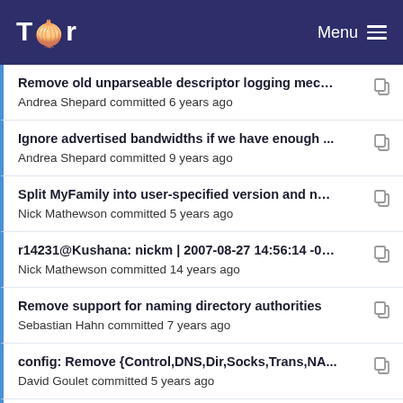Tor — Menu
Remove old unparseable descriptor logging mech...
Andrea Shepard committed 6 years ago
Ignore advertised bandwidths if we have enough ...
Andrea Shepard committed 9 years ago
Split MyFamily into user-specified version and nor...
Nick Mathewson committed 5 years ago
r14231@Kushana: nickm | 2007-08-27 14:56:14 -0400
Nick Mathewson committed 14 years ago
Remove support for naming directory authorities
Sebastian Hahn committed 7 years ago
config: Remove {Control,DNS,Dir,Socks,Trans,NA...
David Goulet committed 5 years ago
Simplify the VPORT() macro in config.c
Nick Mathewson committed 5 years ago
r14231@Kushana: nickm | 2007-08-27 14:56:14 -0400
Nick Mathewson committed 14 years ago